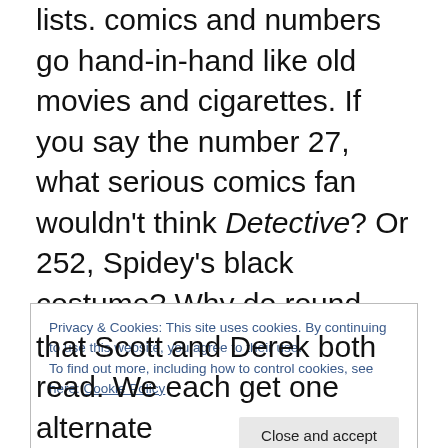lists. comics and numbers go hand-in-hand like old movies and cigarettes. If you say the number 27, what serious comics fan wouldn't think Detective? Or 252, Spidey's black costume? Why do round-numbered "anniversary" issues always sell higher? From what dark recesses of the mind doth spring the obsession for a new Number 1 (as this past year surely demonstrates)? Fighting it is like the Kingpin fighting his urge for a donut: counter-intuitive and pointless. So to the list-cynics I say: go make a Top Ten List of your Least Favorite Top Ten Lists and be done with it. You'll feel better.
Privacy & Cookies: This site uses cookies. By continuing to use this website, you agree to their use. To find out more, including how to control cookies, see here: Cookie Policy
that Scott and Derek both read. We each get one alternate